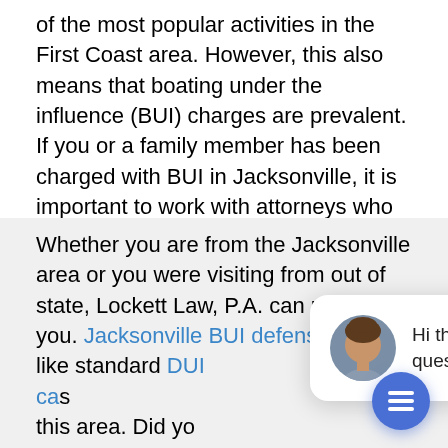of the most popular activities in the First Coast area. However, this also means that boating under the influence (BUI) charges are prevalent. If you or a family member has been charged with BUI in Jacksonville, it is important to work with attorneys who have experience in this highly technical field.
Whether you are from the Jacksonville area or you were visiting from out of state, Lockett Law, P.A. can represent you. Jacksonville BUI defense, much like standard DUI cas[es require expertise in this area. Did yo[u know that officers do] not need prob[able cause if a] vessel has committed a boating infraction to perform a stop. Officers are permitted to stop boats to perform "safety checks" and ask to see registration docu[ments] and check for proper safety equipment. This initial
[Figure (other): Chat popup widget showing a woman's avatar photo and the text 'Hi there, have a question? Text us here.' with a blue chat button in the bottom right corner.]